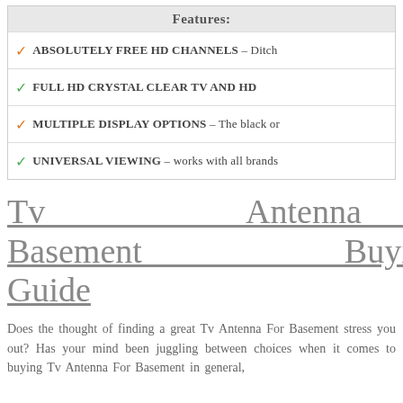Features:
ABSOLUTELY FREE HD CHANNELS – Ditch
FULL HD CRYSTAL CLEAR TV AND HD
MULTIPLE DISPLAY OPTIONS – The black or
UNIVERSAL VIEWING – works with all brands
Tv Antenna For Basement Buying Guide
Does the thought of finding a great Tv Antenna For Basement stress you out? Has your mind been juggling between choices when it comes to buying Tv Antenna For Basement in general,